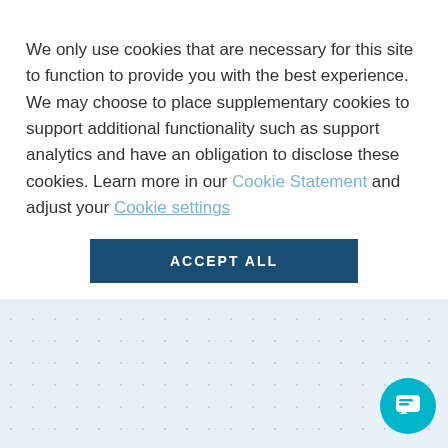We only use cookies that are necessary for this site to function to provide you with the best experience. We may choose to place supplementary cookies to support additional functionality such as support analytics and have an obligation to disclose these cookies. Learn more in our Cookie Statement and adjust your Cookie settings
ACCEPT ALL
close
Welcome to South Bay Credit Union. How can we help?
We've don... volunteering...
150K
We've raised over $150,000 for the Children's Miracle Network